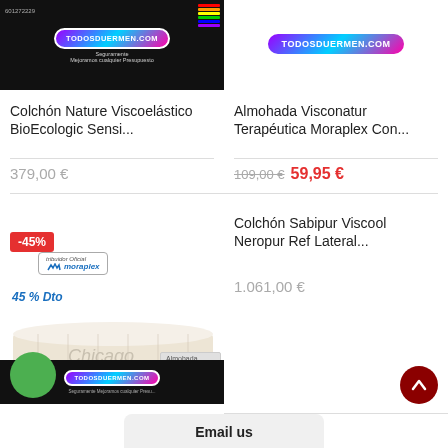[Figure (screenshot): Product listing page from TODOSDUERMEN.COM showing mattresses and pillows]
Colchón Nature Viscoelástico BioEcologic Sensi...
379,00 €
Almohada Visconatur Terapéutica Moraplex Con...
109,00 € 59,95 €
[Figure (photo): Mattress product image with -45% badge, Chicago Gold label, Distribuidor Oficial Moraplex badge, 45% Dto text, Regalo text]
Colchón Sabipur Viscool Neropur Ref Lateral...
1.061,00 €
Email us